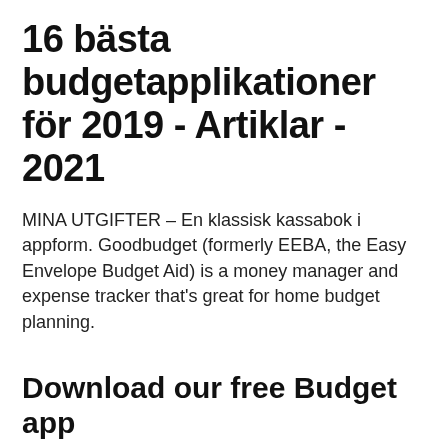16 bästa budgetapplikationer för 2019 - Artiklar - 2021
MINA UTGIFTER – En klassisk kassabok i appform. Goodbudget (formerly EEBA, the Easy Envelope Budget Aid) is a money manager and expense tracker that's great for home budget planning.
Download our free Budget app
All your information stays secure and … In addition to long-term budget creation and spending tracking, one of the unique features of this budget app for iPhone is the option to see your daily spending versus your remaining budget. You can set goals for